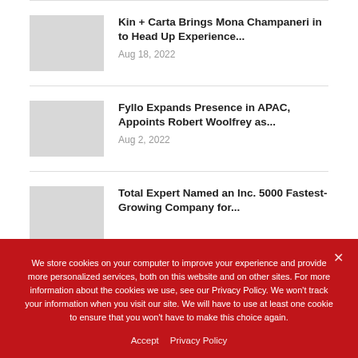[Figure (photo): Gray placeholder thumbnail for article 1]
Kin + Carta Brings Mona Champaneri in to Head Up Experience...
Aug 18, 2022
[Figure (photo): Gray placeholder thumbnail for article 2]
Fyllo Expands Presence in APAC, Appoints Robert Woolfrey as...
Aug 2, 2022
[Figure (photo): Gray placeholder thumbnail for article 3]
Total Expert Named an Inc. 5000 Fastest-Growing Company for...
We store cookies on your computer to improve your experience and provide more personalized services, both on this website and on other sites. For more information about the cookies we use, see our Privacy Policy. We won't track your information when you visit our site. We will have to use at least one cookie to ensure that you won't have to make this choice again.
Accept   Privacy Policy